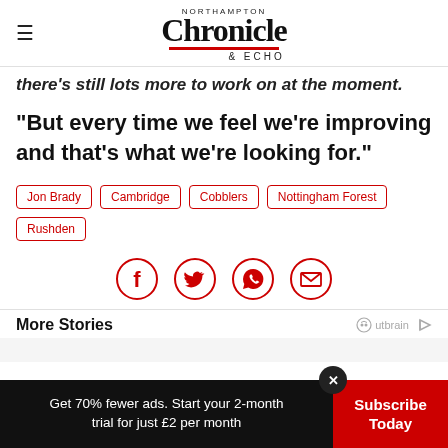NORTHAMPTON Chronicle & ECHO
there's still lots more to work on at the moment.
"But every time we feel we're improving and that's what we're looking for."
Jon Brady
Cambridge
Cobblers
Nottingham Forest
Rushden
[Figure (infographic): Social share icons: Facebook, Twitter, WhatsApp, Email — circular red outlined icons]
More Stories
Get 70% fewer ads. Start your 2-month trial for just £2 per month
Subscribe Today